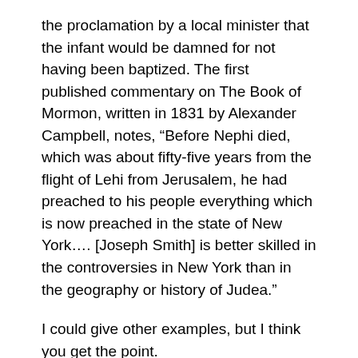the proclamation by a local minister that the infant would be damned for not having been baptized. The first published commentary on The Book of Mormon, written in 1831 by Alexander Campbell, notes, “Before Nephi died, which was about fifty-five years from the flight of Lehi from Jerusalem, he had preached to his people everything which is now preached in the state of New York…. [Joseph Smith] is better skilled in the controversies in New York than in the geography or history of Judea.”
I could give other examples, but I think you get the point.
Two questions arise from this overview. Given its